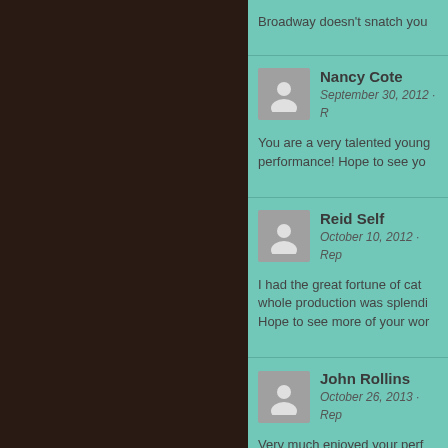Broadway doesn't snatch you
Nancy Cote
September 30, 2012 · R
You are a very talented young performance! Hope to see yo
Reid Self
October 10, 2012 · Rep
I had the great fortune of cat whole production was splendi Hope to see more of your wor
John Rollins
October 26, 2013 · Rep
Very much enjoyed your perf Such a delight to enjoy a grea and you two carried off the cl Disney had better pay attenti